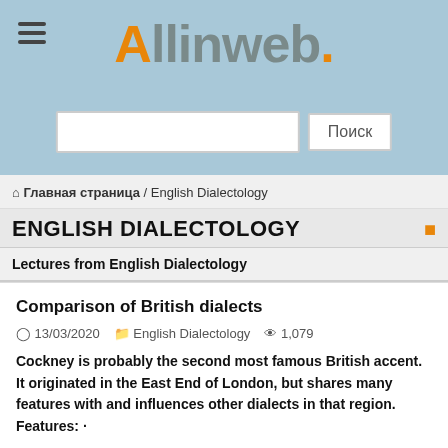[Figure (logo): Allinweb. website logo with orange A and dot on grey text, with hamburger menu icon and search bar]
🏠 Главная страница / English Dialectology
ENGLISH DIALECTOLOGY
Lectures from English Dialectology
Comparison of British dialects
13/03/2020   English Dialectology   1,079
Cockney is probably the second most famous British accent. It originated in the East End of London, but shares many features with and influences other dialects in that region. Features: ·